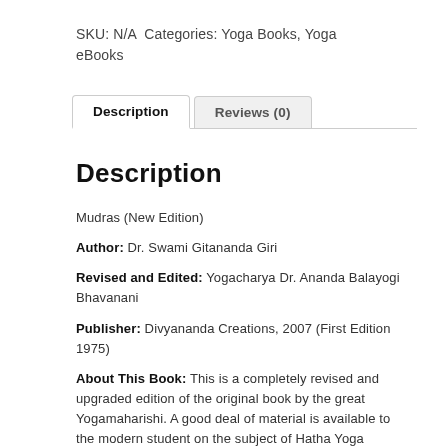SKU: N/A Categories: Yoga Books, Yoga eBooks
Description
Mudras (New Edition)
Author: Dr. Swami Gitananda Giri
Revised and Edited: Yogacharya Dr. Ananda Balayogi Bhavanani
Publisher: Divyananda Creations, 2007 (First Edition 1975)
About This Book: This is a completely revised and upgraded edition of the original book by the great Yogamaharishi. A good deal of material is available to the modern student on the subject of Hatha Yoga Asanas, Shat Karmas and a bit on Pranayama. Little is